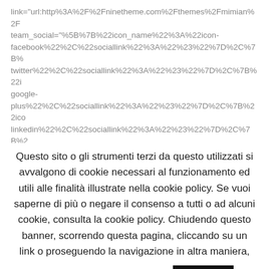link="url:http%3A%2F%2Fninetheme.com%2Fthemes%2Fmimian%2F team_social="%5B%7B%22icon_name%22%3A%22icon-facebook%22%2C%22sociallink%22%3A%22%23%22%7D%2C%7B% twitter%22%2C%22sociallink%22%3A%22%23%22%7D%2C%7B%22i google-plus%22%2C%22sociallink%22%3A%22%23%22%7D%2C%7B%22ico linkedin%22%2C%22sociallink%22%3A%22%23%22%7D%2C%7B%22 behance%22%2C%22sociallink%22%3A%22%23%22%7D%5D"] [mimian_vc_team_item team_count="" teamname="James Royson" teamjob="Senior Developer" team_img="90" link="url:http%3A%2F%2Fninetheme.com%2Fthemes%2Fmimian%2F team_social="%5B%7B%22icon_name%22%3A%22icon-
Questo sito o gli strumenti terzi da questo utilizzati si avvalgono di cookie necessari al funzionamento ed utili alle finalità illustrate nella cookie policy. Se vuoi saperne di più o negare il consenso a tutti o ad alcuni cookie, consulta la cookie policy. Chiudendo questo banner, scorrendo questa pagina, cliccando su un link o proseguendo la navigazione in altra maniera, acconsenti all'uso dei cookie.
Accetta
Leggi l'informativa estesa